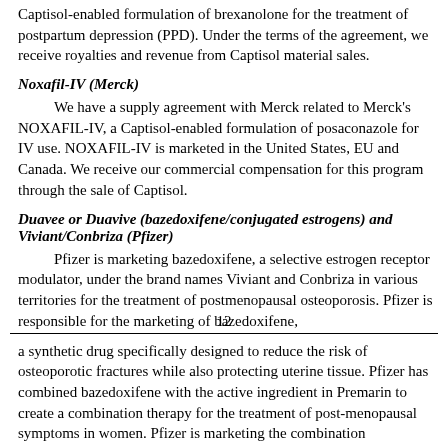Captisol-enabled formulation of brexanolone for the treatment of postpartum depression (PPD). Under the terms of the agreement, we receive royalties and revenue from Captisol material sales.
Noxafil-IV (Merck)
We have a supply agreement with Merck related to Merck's NOXAFIL-IV, a Captisol-enabled formulation of posaconazole for IV use. NOXAFIL-IV is marketed in the United States, EU and Canada. We receive our commercial compensation for this program through the sale of Captisol.
Duavee or Duavive (bazedoxifene/conjugated estrogens) and Viviant/Conbriza (Pfizer)
Pfizer is marketing bazedoxifene, a selective estrogen receptor modulator, under the brand names Viviant and Conbriza in various territories for the treatment of postmenopausal osteoporosis. Pfizer is responsible for the marketing of bazedoxifene,
12
a synthetic drug specifically designed to reduce the risk of osteoporotic fractures while also protecting uterine tissue. Pfizer has combined bazedoxifene with the active ingredient in Premarin to create a combination therapy for the treatment of post-menopausal symptoms in women. Pfizer is marketing the combination